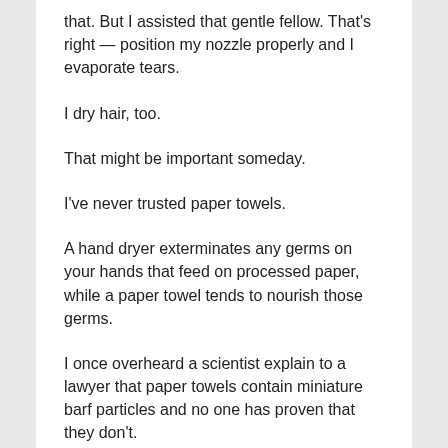that. But I assisted that gentle fellow. That's right — position my nozzle properly and I evaporate tears.
I dry hair, too.
That might be important someday.
I've never trusted paper towels.
A hand dryer exterminates any germs on your hands that feed on processed paper, while a paper towel tends to nourish those germs.
I once overheard a scientist explain to a lawyer that paper towels contain miniature barf particles and no one has proven that they don't.
You blow your nose with paper towels. Why dry your hands with the same thing?
I've overheard people say a paper towel can be a